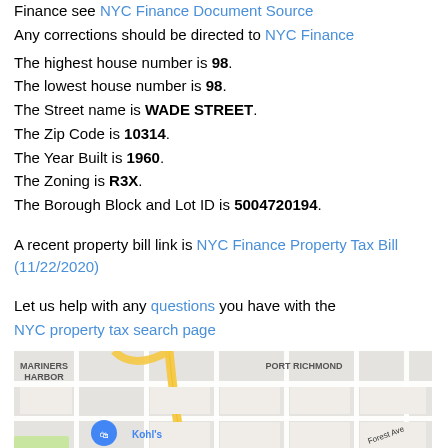Finance see NYC Finance Document Source Any corrections should be directed to NYC Finance
The highest house number is 98.
The lowest house number is 98.
The Street name is WADE STREET.
The Zip Code is 10314.
The Year Built is 1960.
The Zoning is R3X.
The Borough Block and Lot ID is 5004720194.
A recent property bill link is NYC Finance Property Tax Bill (11/22/2020)
Let us help with any questions you have with the NYC property tax search page
[Figure (map): Google Maps view showing Mariners Harbor, Port Richmond area of Staten Island with Kohl's, Target store markers, College Ave, Forest Ave, Jewett Ave roads visible, and a red location marker near the bottom center.]